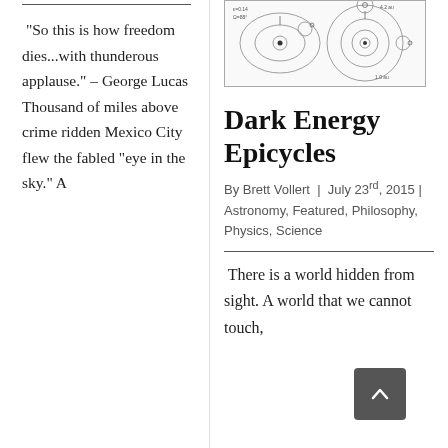"So this is how freedom dies...with thunderous applause." – George Lucas Thousand of miles above crime ridden Mexico City flew the fabled "eye in the sky" A
[Figure (illustration): Astronomical diagram showing planetary orbits and epicycles with circles and arrows on a white background]
Dark Energy Epicycles
By Brett Vollert | July 23rd, 2015 | Astronomy, Featured, Philosophy, Physics, Science
There is a world hidden from sight. A world that we cannot touch,